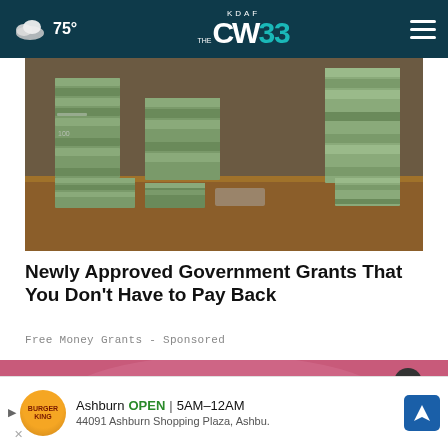75° KDAF CW 33
[Figure (photo): Stacks of bundled cash/money bills piled on a wooden table — large quantities of currency bundles stacked high]
Newly Approved Government Grants That You Don't Have to Pay Back
Free Money Grants - Sponsored
[Figure (photo): Person wearing a pink/magenta top, partially visible torso]
Ashburn OPEN | 5AM–12AM
44091 Ashburn Shopping Plaza, Ashbu.